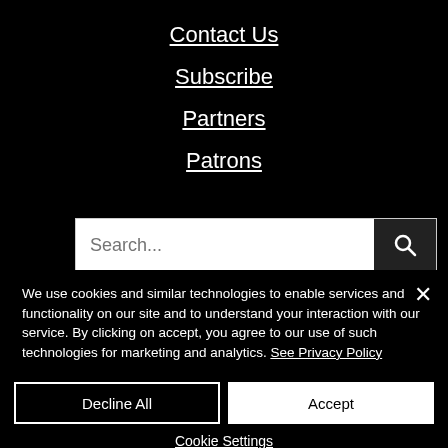Contact Us
Subscribe
Partners
Patrons
Search...
We use cookies and similar technologies to enable services and functionality on our site and to understand your interaction with our service. By clicking on accept, you agree to our use of such technologies for marketing and analytics. See Privacy Policy
Decline All
Accept
Cookie Settings